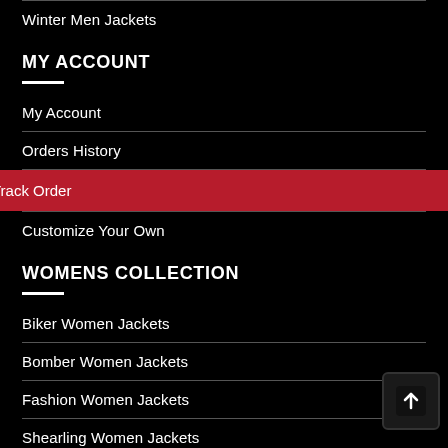Winter Men Jackets
MY ACCOUNT
My Account
Orders History
Track Order
Customize Your Own
WOMENS COLLECTION
Biker Women Jackets
Bomber Women Jackets
Fashion Women Jackets
Shearling Women Jackets